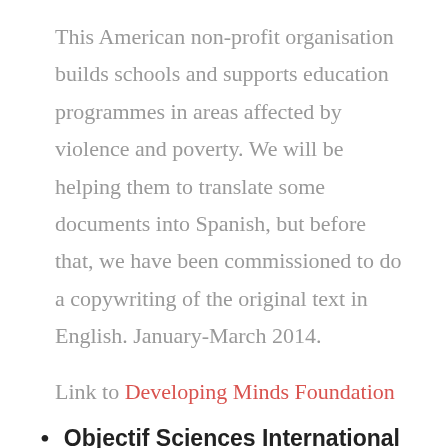This American non-profit organisation builds schools and supports education programmes in areas affected by violence and poverty. We will be helping them to translate some documents into Spanish, but before that, we have been commissioned to do a copywriting of the original text in English. January-March 2014.
Link to Developing Minds Foundation
Objectif Sciences International
This non-profit association organises scientific holiday camps for children and teenagers. These camps serve as entertainment and a learning environment for children and teenagers and are